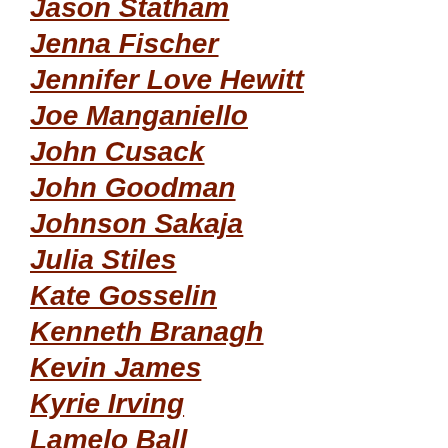Jason Statham
Jenna Fischer
Jennifer Love Hewitt
Joe Manganiello
John Cusack
John Goodman
Johnson Sakaja
Julia Stiles
Kate Gosselin
Kenneth Branagh
Kevin James
Kyrie Irving
Lamelo Ball
Larry Bird
Lil Durk
Luke Wilson